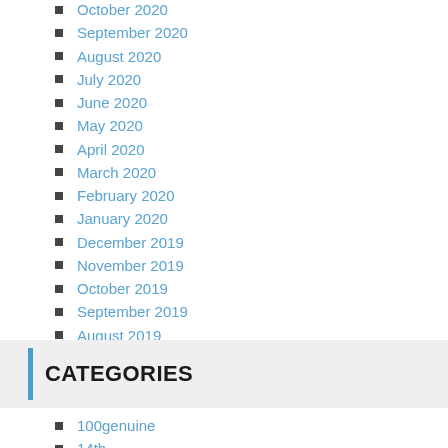October 2020
September 2020
August 2020
July 2020
June 2020
May 2020
April 2020
March 2020
February 2020
January 2020
December 2019
November 2019
October 2019
September 2019
August 2019
July 2019
June 2019
Categories
100genuine
14th